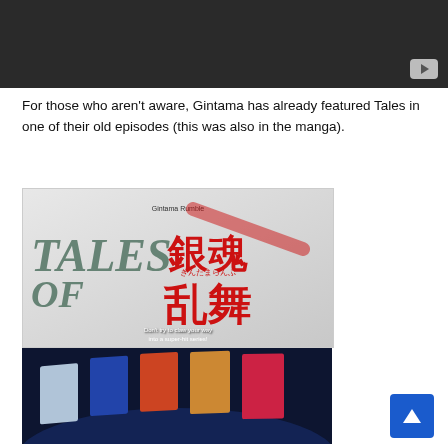[Figure (screenshot): Dark video thumbnail with YouTube button in bottom right corner]
For those who aren't aware, Gintama has already featured Tales in one of their old episodes (this was also in the manga).
[Figure (screenshot): Tales of Gintama Rumble logo image with Japanese characters and subtitle text 'Don't try to claw your way into a super-hit series!']
[Figure (screenshot): Dark blue background with anime manga book covers displayed in perspective]